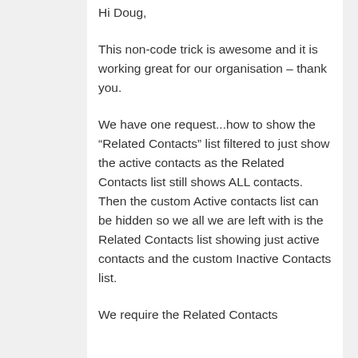Hi Doug,
This non-code trick is awesome and it is working great for our organisation – thank you.
We have one request...how to show the “Related Contacts” list filtered to just show the active contacts as the Related Contacts list still shows ALL contacts. Then the custom Active contacts list can be hidden so we all we are left with is the Related Contacts list showing just active contacts and the custom Inactive Contacts list.
We require the Related Contacts